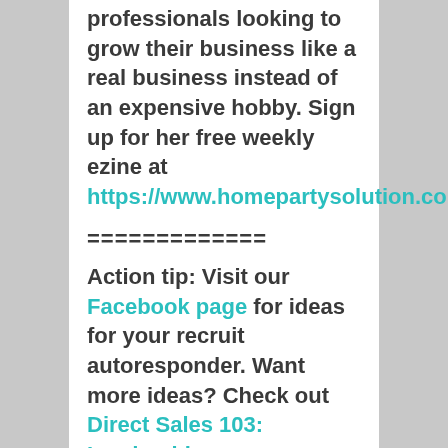professionals looking to grow their business like a real business instead of an expensive hobby. Sign up for her free weekly ezine at https://www.homepartysolution.com.
=============
Action tip: Visit our Facebook page for ideas for your recruit autoresponder. Want more ideas? Check out Direct Sales 103: Leadership